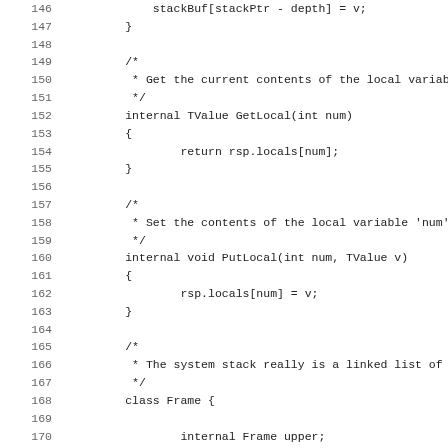[Figure (screenshot): Source code listing in monospace font showing lines 146-178 of a program. Contains methods GetLocal, PutLocal, and class Frame definition with fields and constructor in what appears to be a custom language similar to Java/C#.]